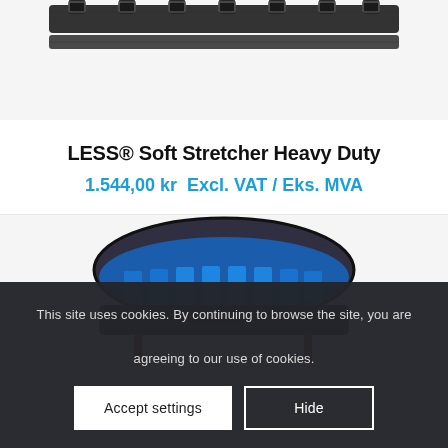[Figure (photo): Top portion of a black soft stretcher heavy duty product showing straps and buckles against a light gray background]
LESS® Soft Stretcher Heavy Duty
1.544,00 kr  Excl. VAT / Eks. MVA
[Figure (photo): Bottom portion of a second product showing a blue and black stretcher/medical device against a light gray background]
This site uses cookies. By continuing to browse the site, you are agreeing to our use of cookies.
Accept settings
Hide